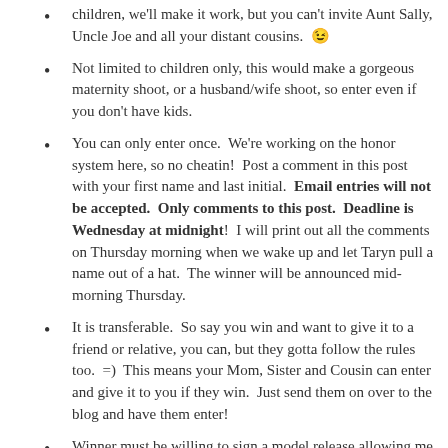children, we'll make it work, but you can't invite Aunt Sally, Uncle Joe and all your distant cousins. 😉
Not limited to children only, this would make a gorgeous maternity shoot, or a husband/wife shoot, so enter even if you don't have kids.
You can only enter once. We're working on the honor system here, so no cheatin! Post a comment in this post with your first name and last initial. Email entries will not be accepted. Only comments to this post. Deadline is Wednesday at midnight! I will print out all the comments on Thursday morning when we wake up and let Taryn pull a name out of a hat. The winner will be announced mid-morning Thursday.
It is transferable. So say you win and want to give it to a friend or relative, you can, but they gotta follow the rules too. =) This means your Mom, Sister and Cousin can enter and give it to you if they win. Just send them on over to the blog and have them enter!
Winner must be willing to sign a model release allowing me to use the images taken during the session for promotional purposes, on the blog, website, etc.
There is no cash value. If you win and don't use the session, or if